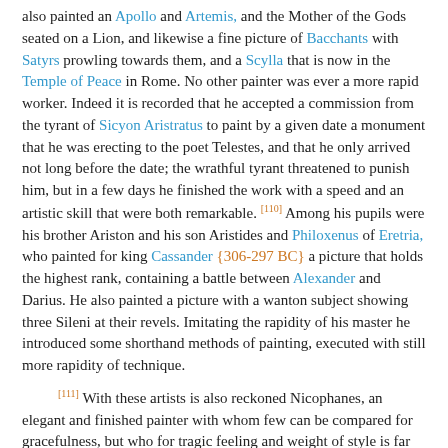also painted an Apollo and Artemis, and the Mother of the Gods seated on a Lion, and likewise a fine picture of Bacchants with Satyrs prowling towards them, and a Scylla that is now in the Temple of Peace in Rome. No other painter was ever a more rapid worker. Indeed it is recorded that he accepted a commission from the tyrant of Sicyon Aristratus to paint by a given date a monument that he was erecting to the poet Telestes, and that he only arrived not long before the date; the wrathful tyrant threatened to punish him, but in a few days he finished the work with a speed and an artistic skill that were both remarkable. [110] Among his pupils were his brother Ariston and his son Aristides and Philoxenus of Eretria, who painted for king Cassander {306-297 BC} a picture that holds the highest rank, containing a battle between Alexander and Darius. He also painted a picture with a wanton subject showing three Sileni at their revels. Imitating the rapidity of his master he introduced some shorthand methods of painting, executed with still more rapidity of technique.
[111] With these artists is also reckoned Nicophanes, an elegant and finished painter with whom few can be compared for gracefulness, but who for tragic feeling and weight of style is far from Zeuxis and Apelles.